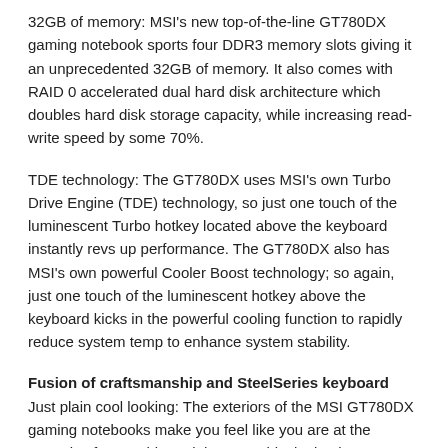32GB of memory: MSI's new top-of-the-line GT780DX gaming notebook sports four DDR3 memory slots giving it an unprecedented 32GB of memory. It also comes with RAID 0 accelerated dual hard disk architecture which doubles hard disk storage capacity, while increasing read-write speed by some 70%.
TDE technology: The GT780DX uses MSI's own Turbo Drive Engine (TDE) technology, so just one touch of the luminescent Turbo hotkey located above the keyboard instantly revs up performance. The GT780DX also has MSI's own powerful Cooler Boost technology; so again, just one touch of the luminescent hotkey above the keyboard kicks in the powerful cooling function to rapidly reduce system temp to enhance system stability.
Fusion of craftsmanship and SteelSeries keyboard
Just plain cool looking: The exteriors of the MSI GT780DX gaming notebooks make you feel like you are at the controls of a starship and the matte black aluminum magnesium